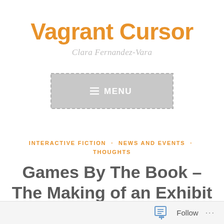Vagrant Cursor
Clara Fernandez-Vara
[Figure (other): Navigation menu button with hamburger icon and MENU label, gray background with dashed border]
INTERACTIVE FICTION · NEWS AND EVENTS · THOUGHTS
Games By The Book – The Making of an Exhibit
Follow ...